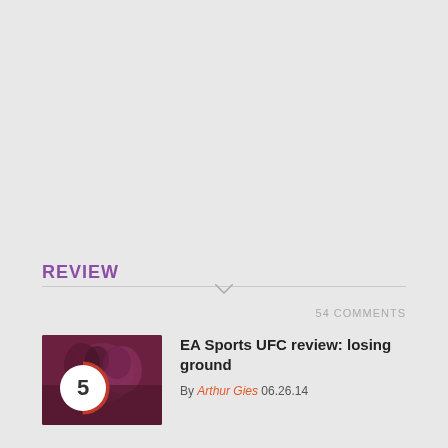REVIEW
54 COMMENTS
[Figure (photo): UFC fighters boxing, with a score badge showing 5 out of 10 overlaid on the thumbnail image]
EA Sports UFC review: losing ground
By Arthur Gies 06.26.14